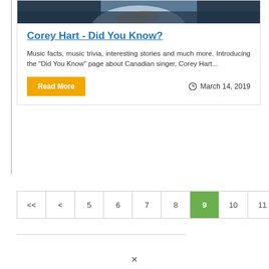[Figure (photo): Partial photo of a person wearing a light blue shirt, crossing hands over chest, against a dark background. Only the lower portion of the face/upper torso visible.]
Corey Hart - Did You Know?
Music facts, music trivia, interesting stories and much more. Introducing the "Did You Know" page about Canadian singer, Corey Hart...
Read More
March 14, 2019
<< < 5 6 7 8 9 10 11